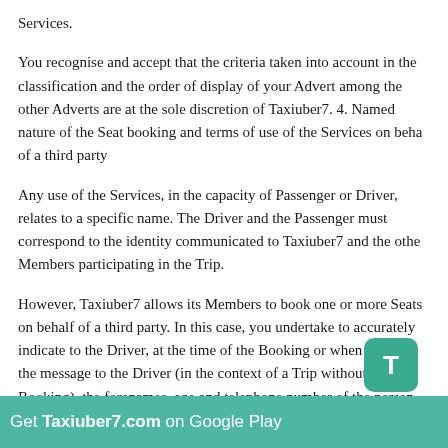Services.
You recognise and accept that the criteria taken into account in the classification and the order of display of your Advert among the other Adverts are at the sole discretion of Taxiuber7. 4. Named nature of the Seat booking and terms of use of the Services on behalf of a third party
Any use of the Services, in the capacity of Passenger or Driver, relates to a specific name. The Driver and the Passenger must correspond to the identity communicated to Taxiuber7 and the other Members participating in the Trip.
However, Taxiuber7 allows its Members to book one or more Seats on behalf of a third party. In this case, you undertake to accurately indicate to the Driver, at the time of the Booking or when sending the message to the Driver (in the context of a Trip without Booking), the forenames, age and telephone number of the person on whose behalf you are reserving a Seat. It is strictly prohibited to book a Seat for a minor under the age of 13 travelling alone. In those where you are reserving a seat for a minor over the age of travelling alone, you undertake to request the prior agreement of the Driver and to provide him with duly completed and signed